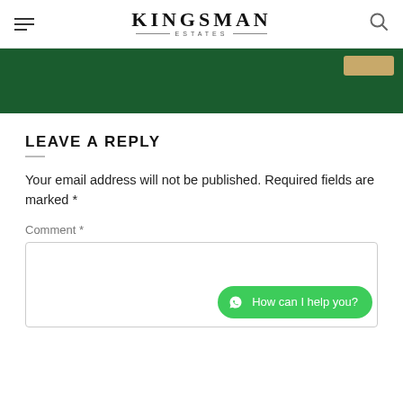KINGSMAN ESTATES
[Figure (screenshot): Dark green banner/hero section with a tan/gold button in the top right corner]
LEAVE A REPLY
Your email address will not be published. Required fields are marked *
Comment *
[Figure (screenshot): Comment text area input box (empty), with a green WhatsApp chat button reading 'How can I help you?' in the bottom right]